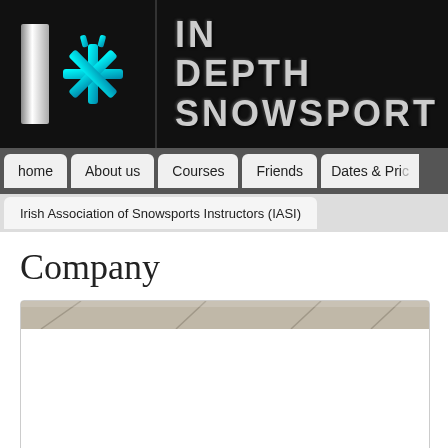[Figure (logo): In Depth Snowsport logo with snowflake icon and brand name text on black background]
home | About us | Courses | Friends | Dates & Pri...
Irish Association of Snowsports Instructors (IASI)
Company
[Figure (photo): Partial photo of a snowy ski slope or mountain scene]